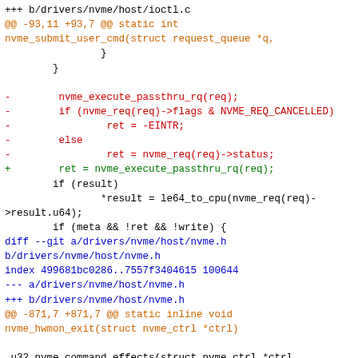Git diff code patch showing changes to Linux NVMe driver files: drivers/nvme/host/ioctl.c and drivers/nvme/host/nvme.h. Includes removal of nvme_execute_passthru_rq call pattern with flag checking, replacement with single return value assignment, and function signature change from void to int return type.